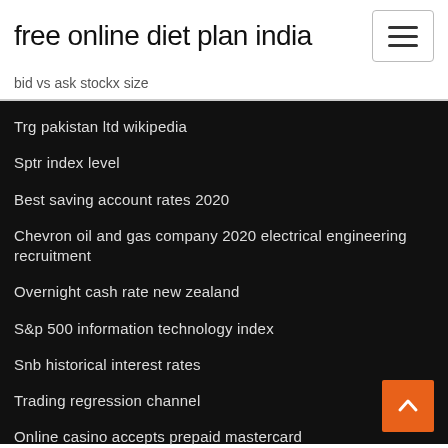free online diet plan india
bid vs ask stockx size
Trg pakistan ltd wikipedia
Sptr index level
Best saving account rates 2020
Chevron oil and gas company 2020 electrical engineering recruitment
Overnight cash rate new zealand
S&p 500 information technology index
Snb historical interest rates
Trading regression channel
Online casino accepts prepaid mastercard